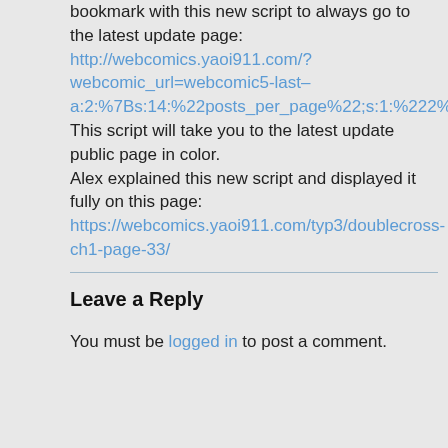bookmark with this new script to always go to the latest update page: http://webcomics.yaoi911.com/?webcomic_url=webcomic5-last–a:2:%7Bs:14:%22posts_per_page%22;s:1:%222%22 This script will take you to the latest update public page in color. Alex explained this new script and displayed it fully on this page: https://webcomics.yaoi911.com/typ3/doublecross-ch1-page-33/
Leave a Reply
You must be logged in to post a comment.